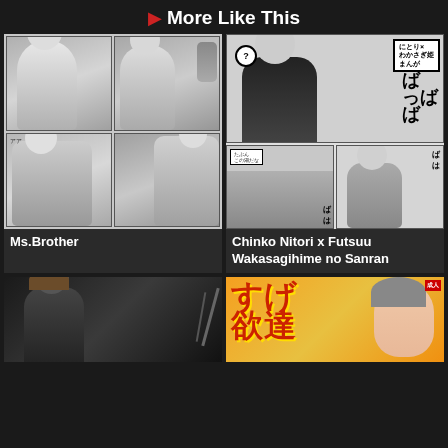More Like This
[Figure (illustration): Manga comic panels showing anime-style characters, black and white illustration]
[Figure (illustration): Manga comic panels with Japanese text, anime-style characters including text にとり x わかさぎ姫 まんが, ばっば、ば、ば]
Ms.Brother
Chinko Nitori x Futsuu Wakasagihime no Sanran
[Figure (illustration): Manga style illustration, dark tones, anime character]
[Figure (illustration): Manga cover with Japanese text す欲, colorful orange/yellow background with anime character]